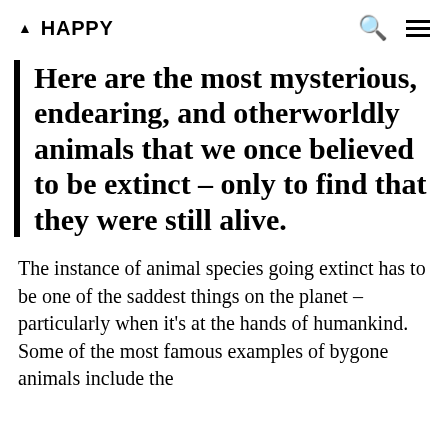▲ HAPPY
Here are the most mysterious, endearing, and otherworldly animals that we once believed to be extinct – only to find that they were still alive.
The instance of animal species going extinct has to be one of the saddest things on the planet – particularly when it's at the hands of humankind. Some of the most famous examples of bygone animals include the